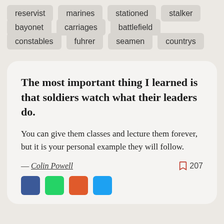reservist
marines
stationed
stalker
bayonet
carriages
battlefield
constables
fuhrer
seamen
countrys
The most important thing I learned is that soldiers watch what their leaders do.
You can give them classes and lecture them forever, but it is your personal example they will follow.
— Colin Powell
207